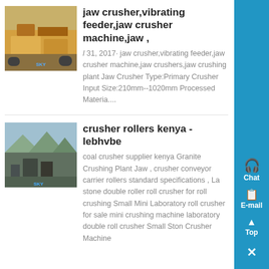[Figure (photo): Yellow jaw crusher machine on a construction site]
jaw crusher,vibrating feeder,jaw crusher machine,jaw ,
Jul 31, 2017· jaw crusher,vibrating feeder,jaw crusher machine,jaw crushers,jaw crushing plant Jaw Crusher Type:Primary Crusher Input Size:210mm--1020mm Processed Materia....
[Figure (photo): Granite crushing plant with jaw crusher in Kenya]
crusher rollers kenya - lebhvbe
coal crusher supplier kenya Granite Crushing Plant Jaw , crusher conveyor carrier rollers standard specifications , La stone double roller roll crusher for roll crushing Small Mini Laboratory roll crusher for sale mini crushing machine laboratory double roll crusher Small Ston Crusher Machine